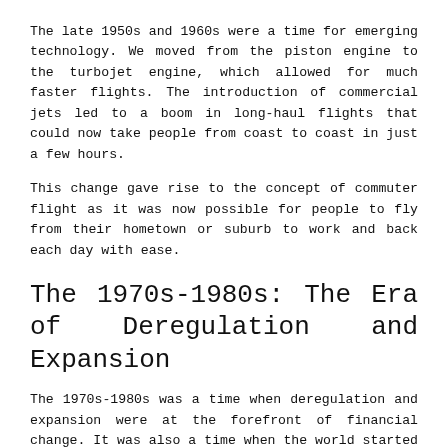The late 1950s and 1960s were a time for emerging technology. We moved from the piston engine to the turbojet engine, which allowed for much faster flights. The introduction of commercial jets led to a boom in long-haul flights that could now take people from coast to coast in just a few hours.
This change gave rise to the concept of commuter flight as it was now possible for people to fly from their hometown or suburb to work and back each day with ease.
The 1970s-1980s: The Era of Deregulation and Expansion
The 1970s-1980s was a time when deregulation and expansion were at the forefront of financial change. It was also a time when the world started to be reshaped by globalization.
The decade began with President Nixon signing into law the Economic Stabilization Act in order to combat inflation. This act is what led to the creation of the Federal Reserve Bank. The decade also saw Ford's wage and price controls that were enacted in an effort